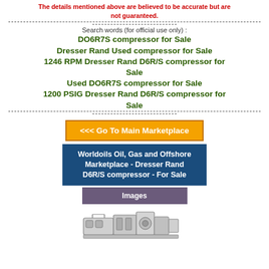The details mentioned above are believed to be accurate but are not guaranteed.
Search words (for official use only) :
DO6R7S compressor for Sale
Dresser Rand Used compressor for Sale
1246 RPM Dresser Rand D6R/S compressor for Sale
Used DO6R7S compressor for Sale
1200 PSIG Dresser Rand D6R/S compressor for Sale
<<< Go To Main Marketplace
Worldoils Oil, Gas and Offshore Marketplace - Dresser Rand D6R/S compressor - For Sale
Images
[Figure (photo): Photograph of a Dresser Rand D6R/S compressor unit]